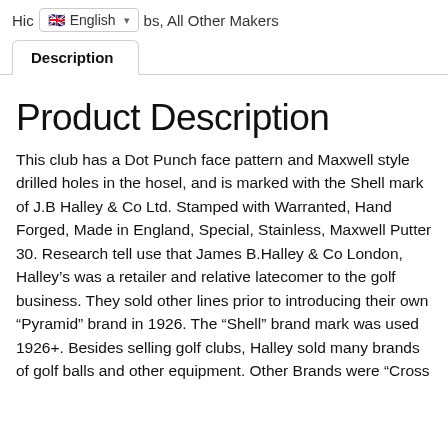Hic… bs, All Other Makers
Description
Product Description
This club has a Dot Punch face pattern and Maxwell style drilled holes in the hosel, and is marked with the Shell mark of J.B Halley & Co Ltd. Stamped with Warranted, Hand Forged, Made in England, Special, Stainless, Maxwell Putter 30. Research tell use that James B.Halley & Co London, Halley’s was a retailer and relative latecomer to the golf business. They sold other lines prior to introducing their own “Pyramid” brand in 1926. The “Shell” brand mark was used 1926+. Besides selling golf clubs, Halley sold many brands of golf balls and other equipment. Other Brands were “Cross…